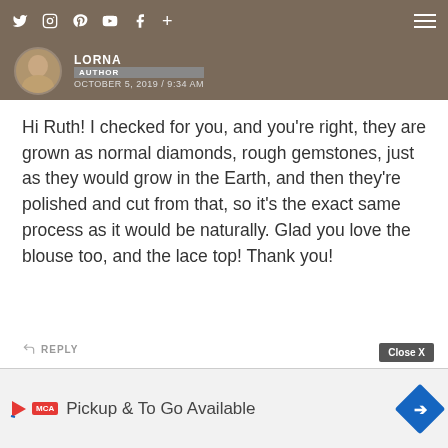Navigation bar with social icons and hamburger menu
LORNA
AUTHOR
OCTOBER 5, 2019 / 9:34 AM
Hi Ruth! I checked for you, and you're right, they are grown as normal diamonds, rough gemstones, just as they would grow in the Earth, and then they're polished and cut from that, so it's the exact same process as it would be naturally. Glad you love the blouse too, and the lace top! Thank you!
REPLY
PETRAJANY
OCTOBER 4, 2019 / 1:14 PM
You are looking beautiful in these beautiful outfits, loved your ring also.
REPLY
[Figure (screenshot): Advertisement overlay: Close X button, play icon, MCA badge, text 'Pickup & To Go Available', blue diamond arrow icon]